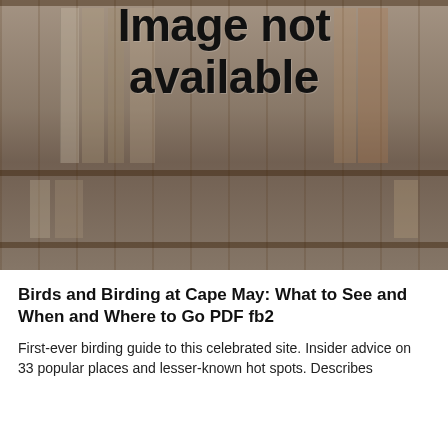[Figure (photo): Bookshelf with many books, overlaid with text 'Image not available']
Birds and Birding at Cape May: What to See and When and Where to Go PDF fb2
First-ever birding guide to this celebrated site. Insider advice on 33 popular places and lesser-known hot spots. Describes